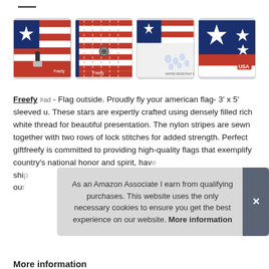[Figure (photo): Four thumbnail images of American flag product details: stars close-up with clip/grommet, stitching detail, waterproof demonstration, and stars on navy blue background with USA label.]
Freefy #ad - Flag outside. Proudly fly your american flag- 3' x 5' sleeved u. These stars are expertly crafted using densely filled rich white thread for beautiful presentation. The nylon stripes are sewn together with two rows of lock stitches for added strength. Perfect gift⁠freefy is committed to providing high-quality flags that exemplify country's national honor and spirit, have [partially obscured] ship [partially obscured] our [partially obscured]
As an Amazon Associate I earn from qualifying purchases. This website uses the only necessary cookies to ensure you get the best experience on our website. More information
More information